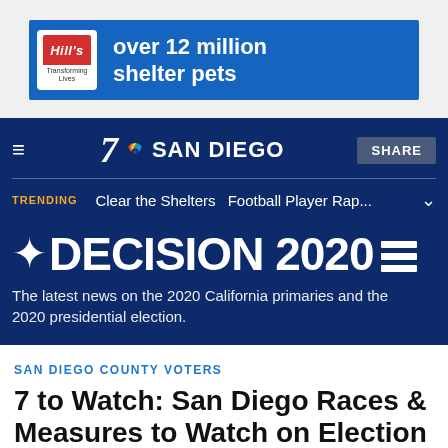[Figure (screenshot): Hill's pet food advertisement banner with blue background showing 'over 12 million shelter pets' text and Hill's logo]
7 SAN DIEGO | NBC 7 SAN DIEGO
TRENDING   Clear the Shelters   Football Player Rap...
DECISION 2020
The latest news on the 2020 California primaries and the 2020 presidential election.
SAN DIEGO COUNTY VOTERS
7 to Watch: San Diego Races & Measures to Watch on Election Night
Voters in San Diego County will choose who will represent